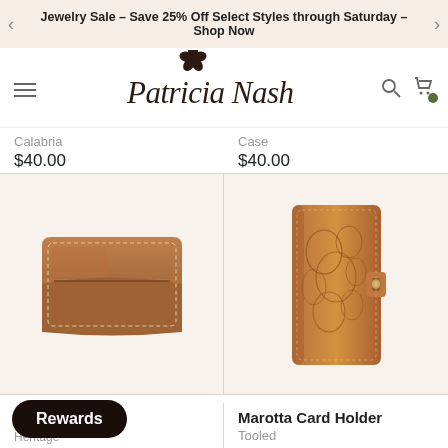Jewelry Sale – Save 25% Off Select Styles through Saturday – Shop Now
[Figure (logo): Patricia Nash cursive signature logo with floral emblem]
Calabria
$40.00
Case
$40.00
[Figure (photo): Brown leather card holder/slim wallet, flat lay on beige background]
[Figure (photo): Brown tooled leather long wallet/organizer with snap closure, vertical orientation on beige background]
se
Heritage
Marotta Card Holder
Tooled